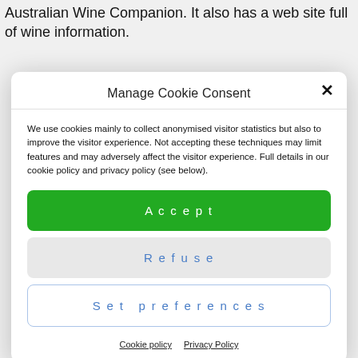Australian Wine Companion. It also has a web site full of wine information.
Manage Cookie Consent
We use cookies mainly to collect anonymised visitor statistics but also to improve the visitor experience. Not accepting these techniques may limit features and may adversely affect the visitor experience. Full details in our cookie policy and privacy policy (see below).
Accept
Refuse
Set preferences
Cookie policy   Privacy Policy